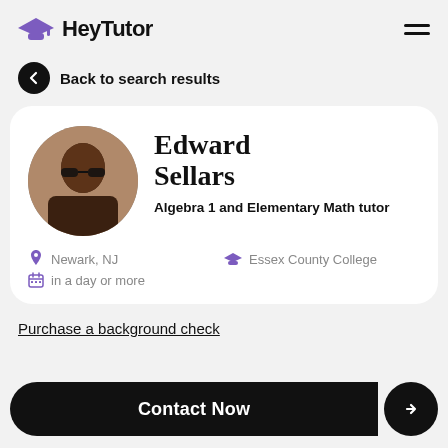HeyTutor
Back to search results
Edward Sellars
Algebra 1 and Elementary Math tutor
Newark, NJ
Essex County College
in a day or more
Purchase a background check
Contact Now